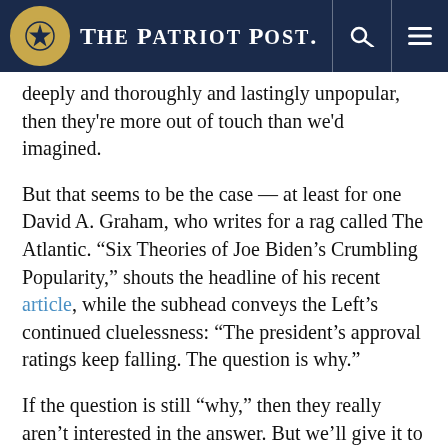The Patriot Post
deeply and thoroughly and lastingly unpopular, then they're more out of touch than we'd imagined.
But that seems to be the case — at least for one David A. Graham, who writes for a rag called The Atlantic. “Six Theories of Joe Biden’s Crumbling Popularity,” shouts the headline of his recent article, while the subhead conveys the Left’s continued cluelessness: “The president’s approval ratings keep falling. The question is why.”
If the question is still “why,” then they really aren’t interested in the answer. But we’ll give it to them anyway: Joe Biden carries with him the stench of a bumbler, a loser, and — worst of all — a laughingstock. It clings to his suits with a skunk-like